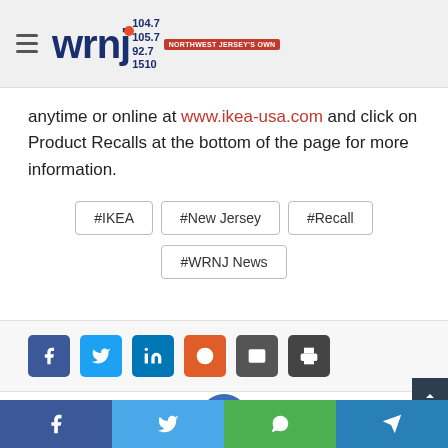[Figure (logo): WRNJ radio station logo with hamburger menu icon, showing frequencies 104.7, 105.7, 92.7, 1510 and tagline NORTHWEST JERSEY'S OWN]
anytime or online at www.ikea-usa.com and click on Product Recalls at the bottom of the page for more information.
#IKEA
#New Jersey
#Recall
#WRNJ News
[Figure (infographic): Social share buttons: Facebook, Twitter, LinkedIn, Reddit, Email, Print]
[Figure (infographic): Bottom navigation social bar with Facebook, Twitter, WhatsApp, Telegram icons]